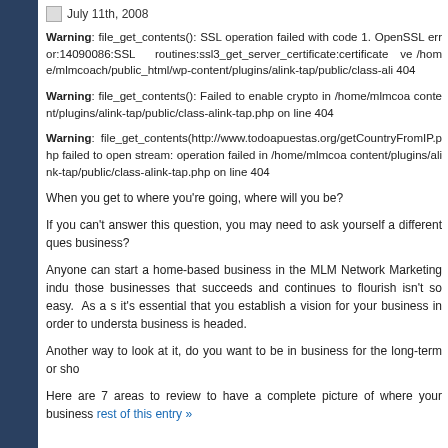July 11th, 2008
Warning: file_get_contents(): SSL operation failed with code 1. OpenSSL error:14090086:SSL routines:ssl3_get_server_certificate:certificate ve /home/mlmcoach/public_html/wp-content/plugins/alink-tap/public/class-ali 404
Warning: file_get_contents(): Failed to enable crypto in /home/mlmcoa content/plugins/alink-tap/public/class-alink-tap.php on line 404
Warning: file_get_contents(http://www.todoapuestas.org/getCountryFromIP.php failed to open stream: operation failed in /home/mlmcoa content/plugins/alink-tap/public/class-alink-tap.php on line 404
When you get to where you're going, where will you be?
If you can't answer this question, you may need to ask yourself a different ques business?
Anyone can start a home-based business in the MLM Network Marketing indu those businesses that succeeds and continues to flourish isn't so easy. As a s it's essential that you establish a vision for your business in order to understa business is headed.
Another way to look at it, do you want to be in business for the long-term or sho
Here are 7 areas to review to have a complete picture of where your business rest of this entry »